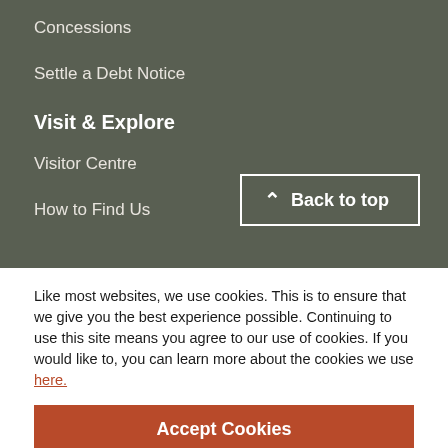Concessions
Settle a Debt Notice
Visit & Explore
Visitor Centre
How to Find Us
Back to top
Like most websites, we use cookies. This is to ensure that we give you the best experience possible. Continuing to use this site means you agree to our use of cookies. If you would like to, you can learn more about the cookies we use here.
Accept Cookies